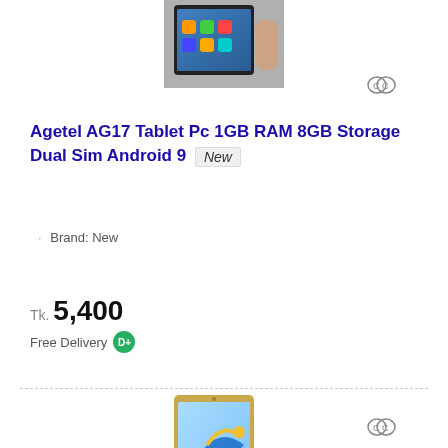[Figure (photo): Photo of Agetel AG17 tablet being held, showing home screen with app icons]
Agetel AG17 Tablet Pc 1GB RAM 8GB Storage Dual Sim Android 9  New
Brand: New
Tk. 5,400
Free Delivery
[Figure (photo): Product photo of a gold tablet with colorful bird/fish design on screen]